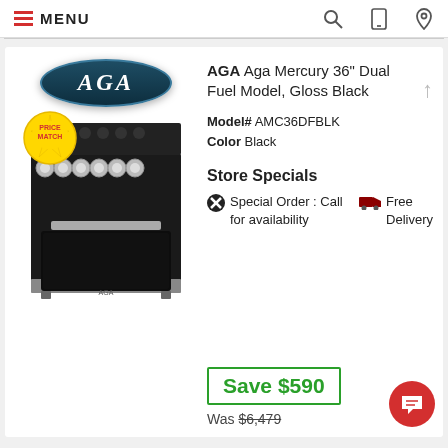MENU
[Figure (photo): AGA stove/range product photo: black AGA logo badge on top, a black freestanding dual fuel range with 6 burners and large oven below, with a 'Price Match' badge sticker in lower left of image]
AGA Aga Mercury 36" Dual Fuel Model, Gloss Black
Model# AMC36DFBLK
Color Black
Store Specials
Special Order : Call for availability
Free Delivery
Save $590
Was $6,479